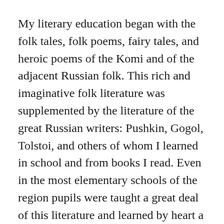My literary education began with the folk tales, folk poems, fairy tales, and heroic poems of the Komi and of the adjacent Russian folk. This rich and imaginative folk literature was supplemented by the literature of the great Russian writers: Pushkin, Gogol, Tolstoi, and others of whom I learned in school and from books I read. Even in the most elementary schools of the region pupils were taught a great deal of this literature and learned by heart a large number of poems of the great poets. The folk literature and the classics both represented genuinely fine literature, free from the vulgarity and ugliness of comic and “yellow” commercial publications of the